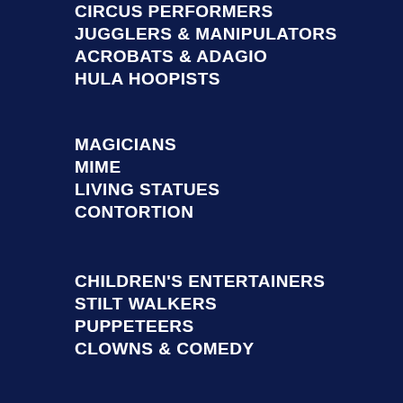CIRCUS PERFORMERS
JUGGLERS & MANIPULATORS
ACROBATS & ADAGIO
HULA HOOPISTS
MAGICIANS
MIME
LIVING STATUES
CONTORTION
CHILDREN'S ENTERTAINERS
STILT WALKERS
PUPPETEERS
CLOWNS & COMEDY